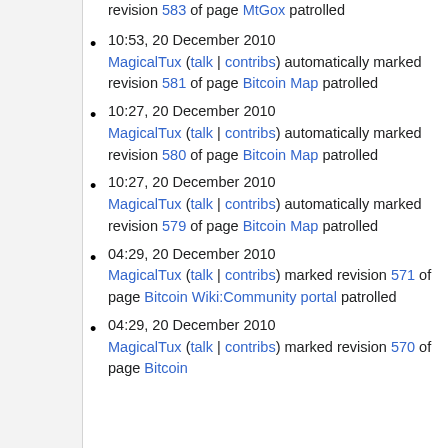revision 583 of page MtGox patrolled
10:53, 20 December 2010 MagicalTux (talk | contribs) automatically marked revision 581 of page Bitcoin Map patrolled
10:27, 20 December 2010 MagicalTux (talk | contribs) automatically marked revision 580 of page Bitcoin Map patrolled
10:27, 20 December 2010 MagicalTux (talk | contribs) automatically marked revision 579 of page Bitcoin Map patrolled
04:29, 20 December 2010 MagicalTux (talk | contribs) marked revision 571 of page Bitcoin Wiki:Community portal patrolled
04:29, 20 December 2010 MagicalTux (talk | contribs) marked revision 570 of page Bitcoin...